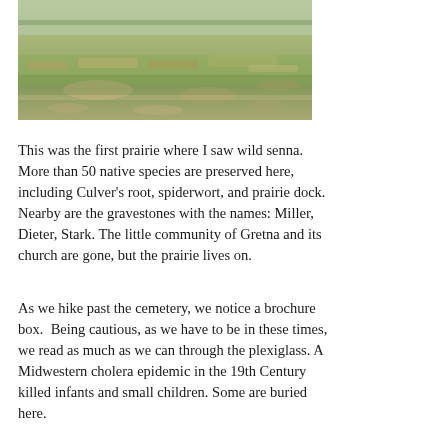[Figure (photo): A prairie landscape with green and sparse grass covering the ground, featuring patches of bare soil and low-growing vegetation.]
This was the first prairie where I saw wild senna. More than 50 native species are preserved here, including Culver’s root, spiderwort, and prairie dock. Nearby are the gravestones with the names: Miller, Dieter, Stark. The little community of Gretna and its church are gone, but the prairie lives on.
As we hike past the cemetery, we notice a brochure box.  Being cautious, as we have to be in these times, we read as much as we can through the plexiglass. A Midwestern cholera epidemic in the 19th Century killed infants and small children. Some are buried here.